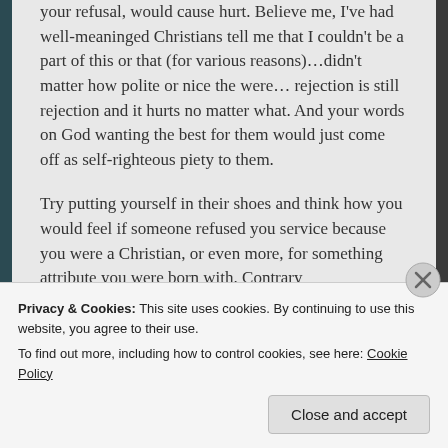your refusal, would cause hurt. Believe me, I've had well-meaninged Christians tell me that I couldn't be a part of this or that (for various reasons)…didn't matter how polite or nice the were… rejection is still rejection and it hurts no matter what. And your words on God wanting the best for them would just come off as self-righteous piety to them.
Try putting yourself in their shoes and think how you would feel if someone refused you service because you were a Christian, or even more, for something attribute you were born with. Contrary
Privacy & Cookies: This site uses cookies. By continuing to use this website, you agree to their use.
To find out more, including how to control cookies, see here: Cookie Policy
Close and accept